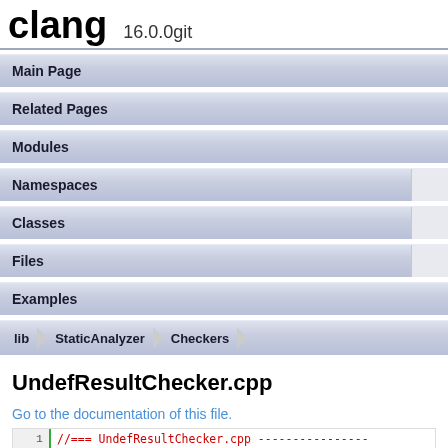clang 16.0.0git
Main Page
Related Pages
Modules
Namespaces
Classes
Files
Examples
lib > StaticAnalyzer > Checkers
UndefResultChecker.cpp
Go to the documentation of this file.
1  //=== UndefResultChecker.cpp ----------------